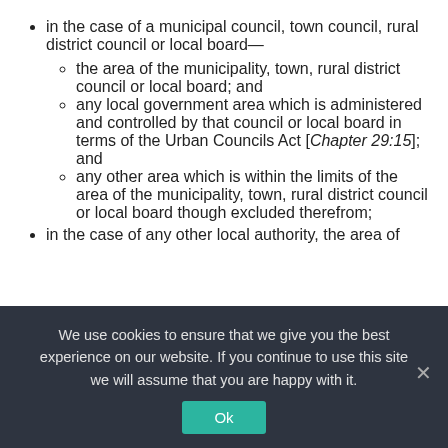in the case of a municipal council, town council, rural district council or local board—
the area of the municipality, town, rural district council or local board; and
any local government area which is administered and controlled by that council or local board in terms of the Urban Councils Act [Chapter 29:15]; and
any other area which is within the limits of the area of the municipality, town, rural district council or local board though excluded therefrom;
in the case of any other local authority, the area of
We use cookies to ensure that we give you the best experience on our website. If you continue to use this site we will assume that you are happy with it.